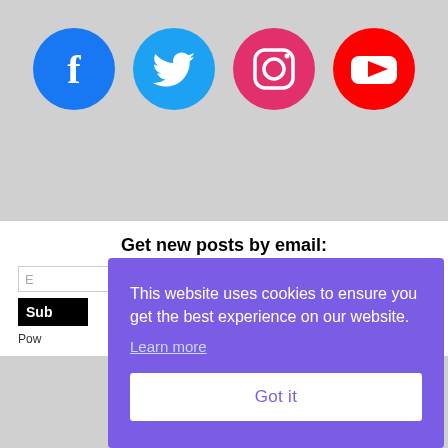[Figure (illustration): Four social media icons in circles: Facebook (blue), Twitter (light blue), Instagram (pink/magenta), YouTube (red), displayed on a gray background]
Get new posts by email:
E[mail input field]
Sub[scribe button]
Pow[ered by...]
This website uses cookies to ensure you get the best experience on our website.
Learn more
Got it
donate now